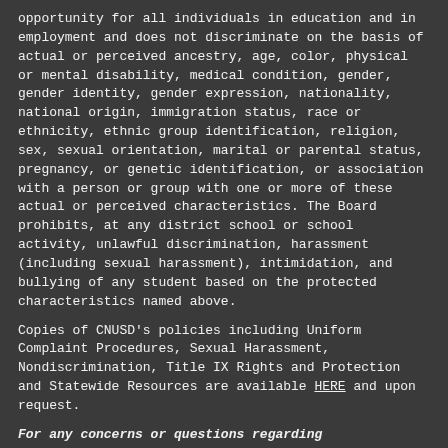opportunity for all individuals in education and in employment and does not discriminate on the basis of actual or perceived ancestry, age, color, physical or mental disability, medical condition, gender, gender identity, gender expression, nationality, national origin, immigration status, race or ethnicity, ethnic group identification, religion, sex, sexual orientation, marital or parental status, pregnancy, or genetic identification, or association with a person or group with one or more of these actual or perceived characteristics. The Board prohibits, at any district school or school activity, unlawful discrimination, harassment (including sexual harassment), intimidation, and bullying of any student based on the protected characteristics named above.
Copies of CNUSD's policies including Uniform Complaint Procedures, Sexual Harassment, Nondiscrimination, Title IX Rights and Protection and Statewide Resources are available HERE and upon request.
For any concerns or questions regarding discrimination, equity, Title II, CCR Title 5 or Title IX, please contact: Dr. RoseMarie Hickman, Coordinator, Human Resources, Corona-Norco Unified School District, 2820 Clark Avenue Norco, CA 92860, (951) 736-5000 Contact Dr. Hickman For any allegations under Section 504 of the Rehabilitation Act of 1973, please contact: Dr. Milisav Ilic, Administrative Director, Student Services, Corona-Norco Unified School District, 2820 Clark Avenue Norco, CA